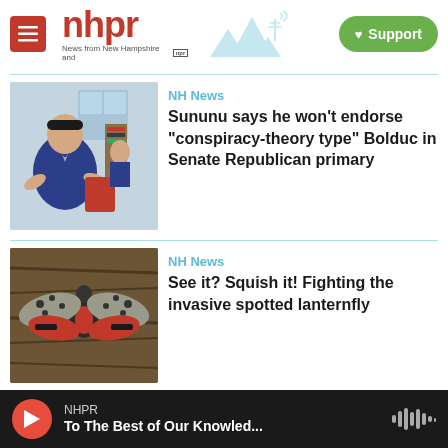nhpr — News from New Hampshire and NPR — Support
[Figure (photo): Governor Sununu seated at desk, gesturing, in office setting]
NH News
Sununu says he won't endorse "conspiracy-theory type" Bolduc in Senate Republican primary
[Figure (photo): Spotted lanternfly with wings spread open on tree bark]
NH News
See it? Squish it! Fighting the invasive spotted lanternfly
[Figure (photo): Outdoor gathering at Canterbury church with white tent]
NH News
A Canterbury church offering a
NHPR — To The Best of Our Knowled...